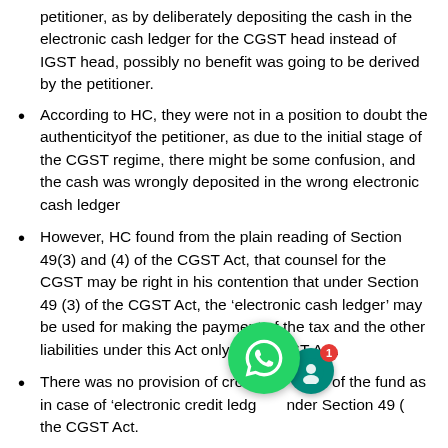petitioner, as by deliberately depositing the cash in the electronic cash ledger for the CGST head instead of IGST head, possibly no benefit was going to be derived by the petitioner.
According to HC, they were not in a position to doubt the authenticityof the petitioner, as due to the initial stage of the CGST regime, there might be some confusion, and the cash was wrongly deposited in the wrong electronic cash ledger
However, HC found from the plain reading of Section 49(3) and (4) of the CGST Act, that counsel for the CGST may be right in his contention that under Section 49 (3) of the CGST Act, the ‘electronic cash ledger’ may be used for making the payment of the tax and the other liabilities under this Act only, i.e., CGST Act.
There was no provision of cross utilisation of the fund as in case of ‘electronic credit ledger’ under Section 49 (...) the CGST Act.